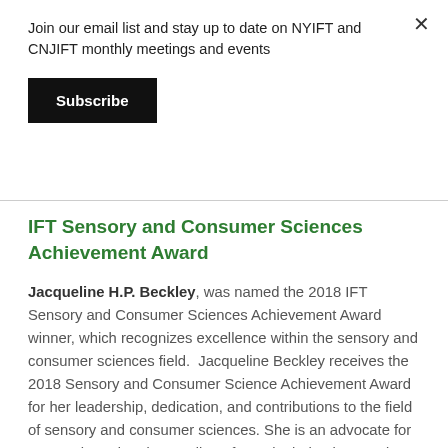Join our email list and stay up to date on NYIFT and CNJIFT monthly meetings and events
Subscribe
IFT Sensory and Consumer Sciences Achievement Award
Jacqueline H.P. Beckley, was named the 2018 IFT Sensory and Consumer Sciences Achievement Award winner, which recognizes excellence within the sensory and consumer sciences field.  Jacqueline Beckley receives the 2018 Sensory and Consumer Science Achievement Award for her leadership, dedication, and contributions to the field of sensory and consumer sciences. She is an advocate for context-based understanding of people, behaviors, and products. She supports collaborative approaches